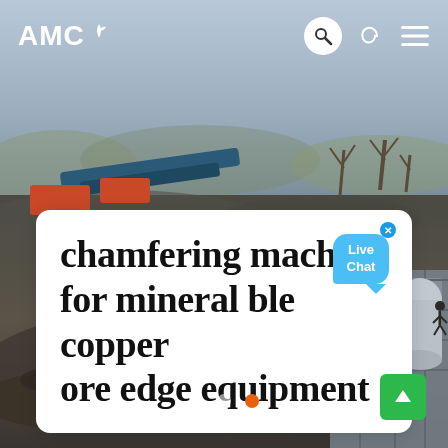[Figure (photo): Aerial/drone view of a mining or quarrying site with heavy machinery, conveyor belts, industrial equipment, bare trees, and a processing facility structure on the right side. Overcast sky.]
AMC
chamfering machine for mineral ble copper ore edge equipment